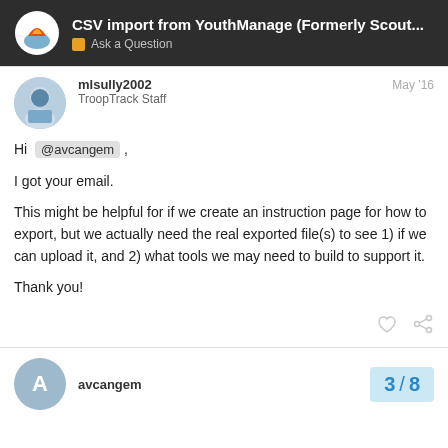CSV import from YouthManage (Formerly Scout... | Ask a Question
mlsully2002
TroopTrack Staff
May '16
Hi @avcangem ,

I got your email.

This might be helpful for if we create an instruction page for how to export, but we actually need the real exported file(s) to see 1) if we can upload it, and 2) what tools we may need to build to support it.

Thank you!
avcangem
3 / 8